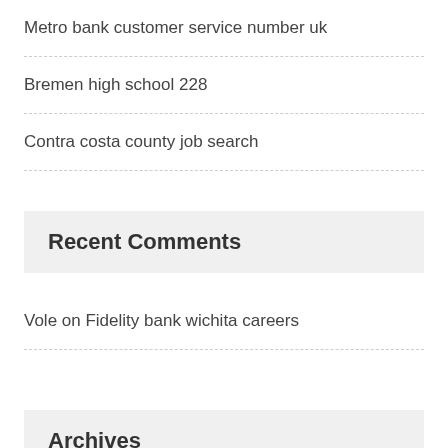Metro bank customer service number uk
Bremen high school 228
Contra costa county job search
Recent Comments
Vole on Fidelity bank wichita careers
Archives